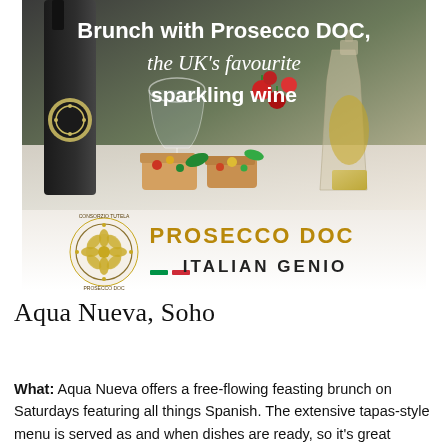[Figure (photo): Advertisement image for Prosecco DOC Italian Genio. Shows a bottle of Prosecco DOC wine, bruschetta appetizers, cherry tomatoes, and a glass carafe of olive oil on a white table. White text overlay reads 'Brunch with Prosecco DOC, the UK's favourite sparkling wine'. Bottom section shows the Prosecco DOC Consorzio logo and text 'PROSECCO DOC ITALIAN GENIO' with Italian flag accent.]
Aqua Nueva, Soho
What: Aqua Nueva offers a free-flowing feasting brunch on Saturdays featuring all things Spanish. The extensive tapas-style menu is served as and when dishes are ready, so it's great